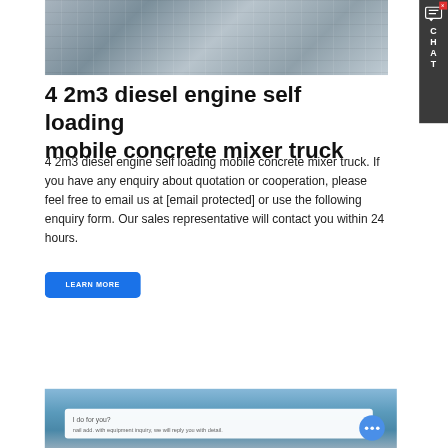[Figure (photo): Industrial concrete mixer truck machinery equipment, white metal structure with tanks and platforms, partially visible at top of page]
4 2m3 diesel engine self loading mobile concrete mixer truck
4 2m3 diesel engine self loading mobile concrete mixer truck. If you have any enquiry about quotation or cooperation, please feel free to email us at [email protected] or use the following enquiry form. Our sales representative will contact you within 24 hours.
[Figure (screenshot): Blue Learn More button]
[Figure (photo): Bottom portion showing a chat input box overlay on a landscape/mountain background photo with blue sky, with floating chat bubble button]